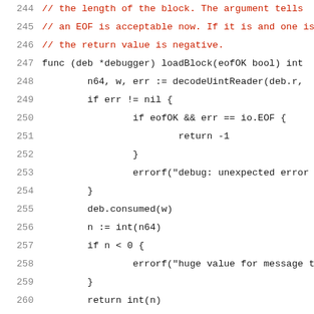[Figure (screenshot): Source code listing in Go language, lines 244-265, showing a loadBlock function with comment lines in red and code in dark/black monospace font on white background.]